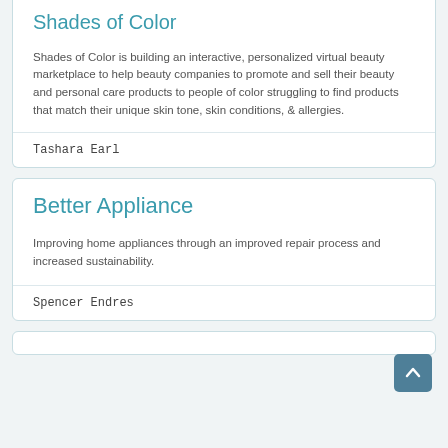Shades of Color
Shades of Color is building an interactive, personalized virtual beauty marketplace to help beauty companies to promote and sell their beauty and personal care products to people of color struggling to find products that match their unique skin tone, skin conditions, & allergies.
Tashara Earl
Better Appliance
Improving home appliances through an improved repair process and increased sustainability.
Spencer Endres